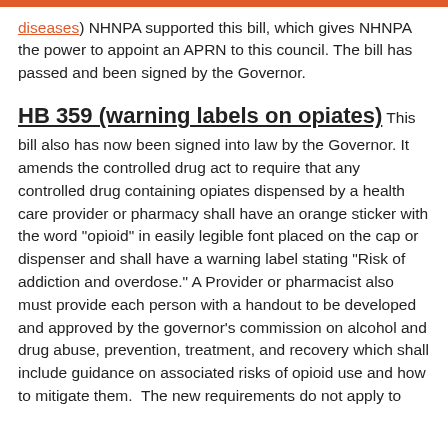diseases) NHNPA supported this bill, which gives NHNPA the power to appoint an APRN to this council. The bill has passed and been signed by the Governor.
HB 359 (warning labels on opiates)
This bill also has now been signed into law by the Governor. It amends the controlled drug act to require that any controlled drug containing opiates dispensed by a health care provider or pharmacy shall have an orange sticker with the word "opioid" in easily legible font placed on the cap or dispenser and shall have a warning label stating "Risk of addiction and overdose." A Provider or pharmacist also must provide each person with a handout to be developed and approved by the governor's commission on alcohol and drug abuse, prevention, treatment, and recovery which shall include guidance on associated risks of opioid use and how to mitigate them.  The new requirements do not apply to